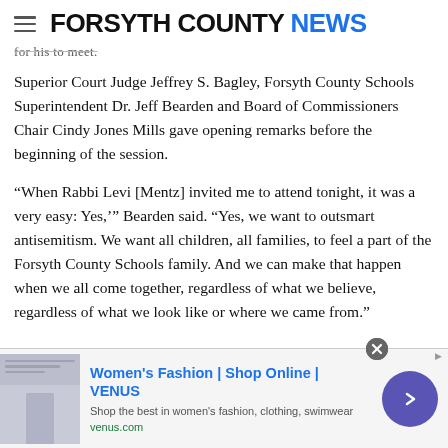FORSYTH COUNTY NEWS
for his to meet.
Superior Court Judge Jeffrey S. Bagley, Forsyth County Schools Superintendent Dr. Jeff Bearden and Board of Commissioners Chair Cindy Jones Mills gave opening remarks before the beginning of the session.
“When Rabbi Levi [Mentz] invited me to attend tonight, it was a very easy: Yes,’” Bearden said. “Yes, we want to outsmart antisemitism. We want all children, all families, to feel a part of the Forsyth County Schools family. And we can make that happen when we all come together, regardless of what we believe, regardless of what we look like or where we came from.”
[Figure (other): Advertisement banner for Women's Fashion VENUS online shop with image, title, description, URL, arrow button, and close button]